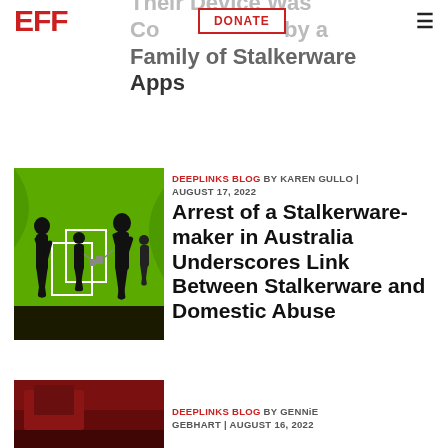EFF | DONATE | (menu)
Their Device Was Compromised by a Family of Stalkerware Apps
[Figure (illustration): Silhouette of family figures walking on green background with chain/lock imagery, stalkerware concept art]
DEEPLINKS BLOG BY KAREN GULLO | AUGUST 17, 2022
Arrest of a Stalkerware-maker in Australia Underscores Link Between Stalkerware and Domestic Abuse
[Figure (illustration): Dark red/maroon abstract image, partial view at bottom of page]
DEEPLINKS BLOG BY GENNiE GEBHART | AUGUST 16, 2022